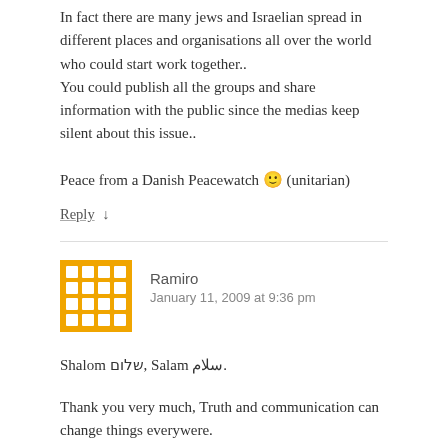In fact there are many jews and Israelian spread in different places and organisations all over the world who could start work together.. You could publish all the groups and share information with the public since the medias keep silent about this issue..
Peace from a Danish Peacewatch 🙂 (unitarian)
Reply ↓
Ramiro
January 11, 2009 at 9:36 pm
Shalom שלום, Salam سلام.
Thank you very much, Truth and communication can change things everywere.